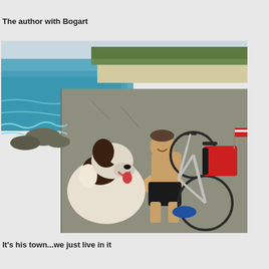The author with Bogart
[Figure (photo): A man sitting on a concrete pier by a lake, smiling and hugging a large Saint Bernard dog. A bicycle loaded with bags and an American flag is parked behind them. The water is teal-blue, with a sandy beach and trees visible in the background.]
It's his town...we just live in it